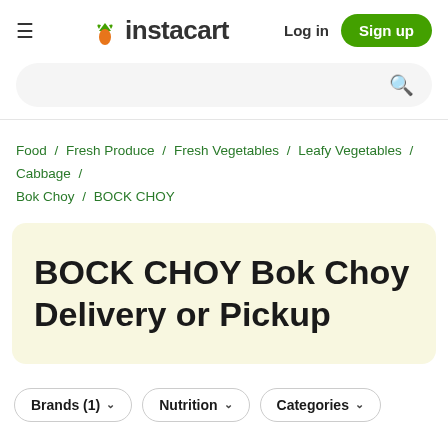≡ instacart  Log in  Sign up
Food / Fresh Produce / Fresh Vegetables / Leafy Vegetables / Cabbage / Bok Choy / BOCK CHOY
BOCK CHOY Bok Choy Delivery or Pickup
Brands (1)  Nutrition  Categories